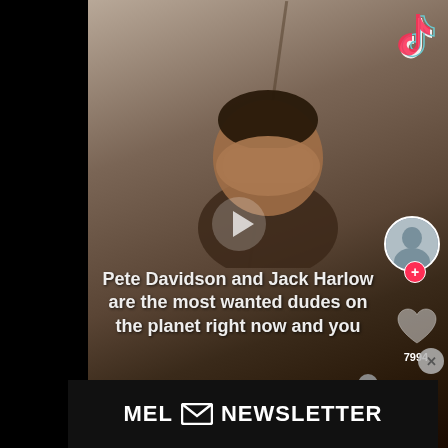[Figure (screenshot): TikTok video screenshot showing a person covering their face with their hand. The video has a TikTok logo in the top right corner, a play button in the center, an avatar circle with a '+' button on the right side, a heart/like icon showing 7994 likes. Caption text on the video reads: 'Pete Davidson and Jack Harlow are the most wanted dudes on the planet right now and you']
Pete Davidson and Jack Harlow are the most wanted dudes on the planet right now and you
[Figure (logo): MEL Newsletter advertisement bar at the bottom — black background with white bold text 'MEL [envelope icon] NEWSLETTER' with a close X button]